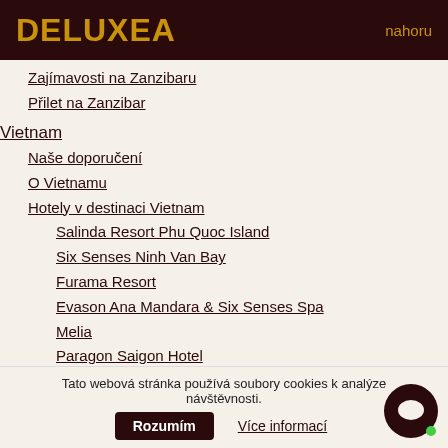DELUXEA  nahoru
Zajímavosti na Zanzibaru
Přilet na Zanzibar
Vietnam
Naše doporučení
O Vietnamu
Hotely v destinaci Vietnam
Salinda Resort Phu Quoc Island
Six Senses Ninh Van Bay
Furama Resort
Evason Ana Mandara & Six Senses Spa
Melia
Paragon Saigon Hotel
Palm Garden Resort Hoi An
Michelia Hotel Nha Trang
Nam Hai
Vinpearl
Victoria Phan Thiet Beach Resort & Spa
Silk Path Hotel Hanoi
Sheraton Saigon Hotel & Towers
Tato webová stránka používá soubory cookies k analýze návštěvnosti.
Rozumím  Více informací